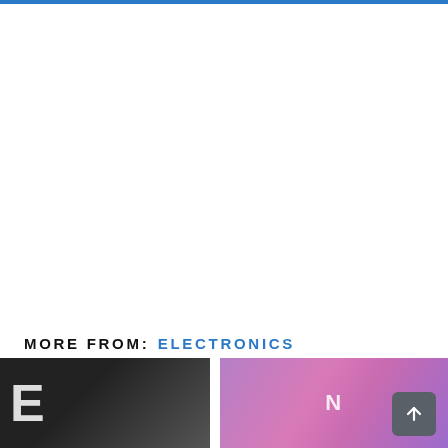MORE FROM: ELECTRONICS
[Figure (photo): Two thumbnail images at the bottom of the page: left image shows dark/black background with white letter visible, right image shows pink/purple neon-lit scene with partial text visible]